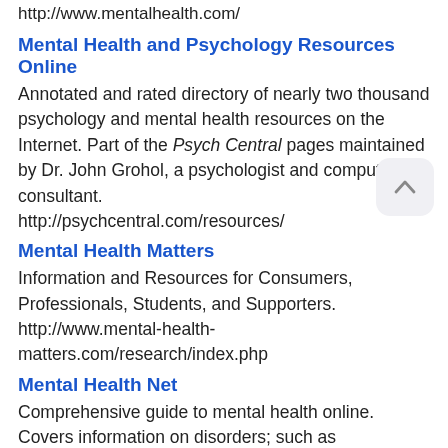http://www.mentalhealth.com/
Mental Health and Psychology Resources Online
Annotated and rated directory of nearly two thousand psychology and mental health resources on the Internet. Part of the Psych Central pages maintained by Dr. John Grohol, a psychologist and computer consultant. http://psychcentral.com/resources/
Mental Health Matters
Information and Resources for Consumers, Professionals, Students, and Supporters. http://www.mental-health-matters.com/research/index.php
Mental Health Net
Comprehensive guide to mental health online. Covers information on disorders; such as depression, anxiety, panic attacks, chronic fatigue syndrome, substance abuse, and